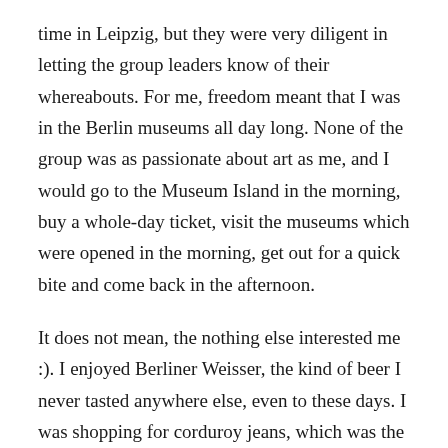time in Leipzig, but they were very diligent in letting the group leaders know of their whereabouts. For me, freedom meant that I was in the Berlin museums all day long. None of the group was as passionate about art as me, and I would go to the Museum Island in the morning, buy a whole-day ticket, visit the museums which were opened in the morning, get out for a quick bite and come back in the afternoon.
It does not mean, the nothing else interested me :). I enjoyed Berliner Weisser, the kind of beer I never tasted anywhere else, even to these days. I was shopping for corduroy jeans, which was the most desired piece of clothing back then, and for cute clothes for 2-year old, my friend's son. I also had a romantic story, which I will share in a little bit. But the museums of Berlin were